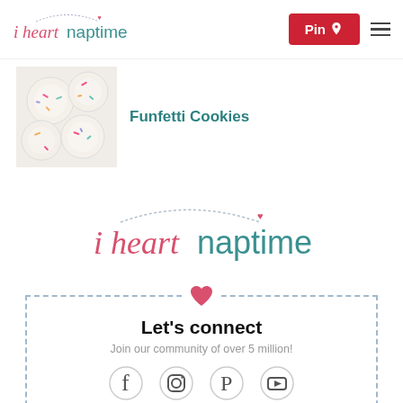i heart naptime — Pin — menu
[Figure (logo): i heart naptime logo — small version in header, pink script 'i heart' with teal 'naptime' and dotted arc with small heart]
[Figure (photo): Photo of round white Funfetti cookies topped with colorful sprinkles, viewed from above]
Funfetti Cookies
[Figure (logo): i heart naptime logo — large centered version, pink script 'i heart' with teal 'naptime' and dotted arc with small heart above]
Let's connect
Join our community of over 5 million!
[Figure (infographic): Social media icons: Facebook, Instagram, Pinterest, YouTube]